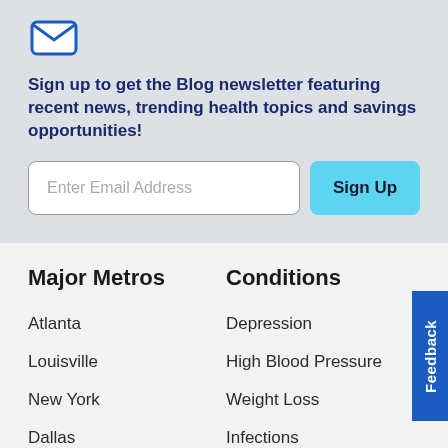[Figure (logo): Blue envelope icon in top-left corner]
Sign up to get the Blog newsletter featuring recent news, trending health topics and savings opportunities!
Enter Email Address
Sign Up
Major Metros
Atlanta
Louisville
New York
Dallas
Indianapolis
Conditions
Depression
High Blood Pressure
Weight Loss
Infections
Diabetes